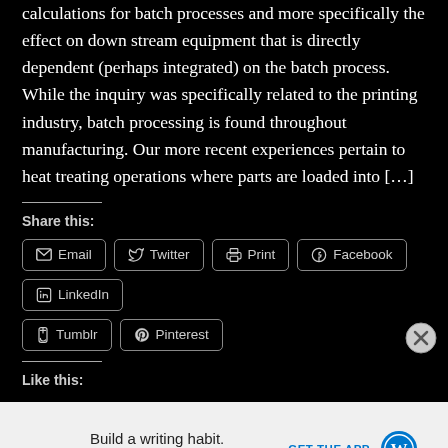calculations for batch processes and more specifically the effect on down stream equipment that is directly dependent (perhaps integrated) on the batch process. While the inquiry was specifically related to the printing industry, batch processing is found throughout manufacturing. Our more recent experiences pertain to heat treating operations where parts are loaded into […]
Share this:
Email
Twitter
Print
Facebook
LinkedIn
Tumblr
Pinterest
Like this:
Build a writing habit. Post on the go.
GET THE APP